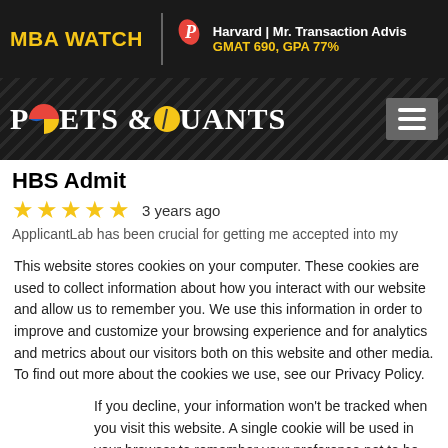MBA WATCH | Harvard | Mr. Transaction Advis GMAT 690, GPA 77%
[Figure (logo): Poets & Quants logo with hamburger menu on dark diagonal-striped background]
HBS Admit
★★★★★ 3 years ago
ApplicantLab has been crucial for getting me accepted into my
This website stores cookies on your computer. These cookies are used to collect information about how you interact with our website and allow us to remember you. We use this information in order to improve and customize your browsing experience and for analytics and metrics about our visitors both on this website and other media. To find out more about the cookies we use, see our Privacy Policy.
If you decline, your information won't be tracked when you visit this website. A single cookie will be used in your browser to remember your preference not to be tracked.